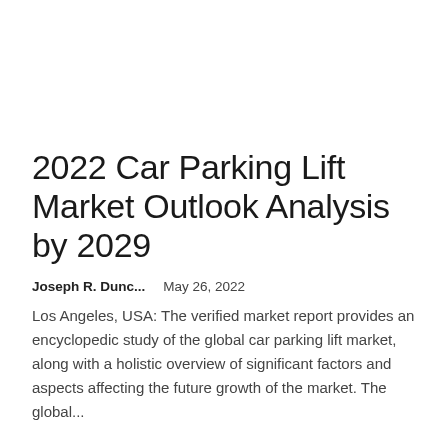2022 Car Parking Lift Market Outlook Analysis by 2029
Joseph R. Dunc...    May 26, 2022
Los Angeles, USA: The verified market report provides an encyclopedic study of the global car parking lift market, along with a holistic overview of significant factors and aspects affecting the future growth of the market. The global...